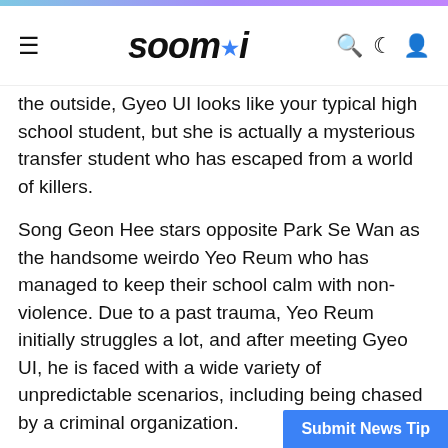soompi
the outside, Gyeo UI looks like your typical high school student, but she is actually a mysterious transfer student who has escaped from a world of killers.
Song Geon Hee stars opposite Park Se Wan as the handsome weirdo Yeo Reum who has managed to keep their school calm with non-violence. Due to a past trauma, Yeo Reum initially struggles a lot, and after meeting Gyeo UI, he is faced with a wide variety of unpredictable scenarios, including being chased by a criminal organization.
Kim Sung Oh will play Gyeo UI's hidden guardian Mr. Ban, while Kim Tae Hoon will portray Spicy, the maniac killer who is after Gyeo UI. Jung Seung Gil takes on the role of detective Nam Woo, who worries about Yeo